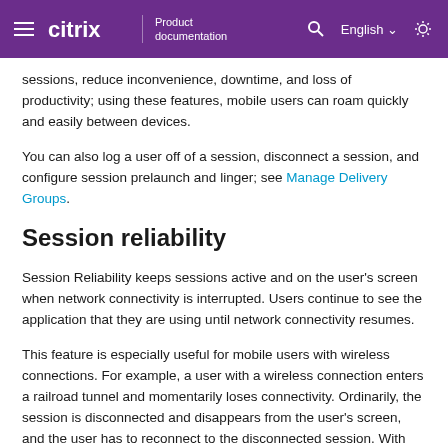Citrix Product documentation | English
sessions, reduce inconvenience, downtime, and loss of productivity; using these features, mobile users can roam quickly and easily between devices.
You can also log a user off of a session, disconnect a session, and configure session prelaunch and linger; see Manage Delivery Groups.
Session reliability
Session Reliability keeps sessions active and on the user’s screen when network connectivity is interrupted. Users continue to see the application that they are using until network connectivity resumes.
This feature is especially useful for mobile users with wireless connections. For example, a user with a wireless connection enters a railroad tunnel and momentarily loses connectivity. Ordinarily, the session is disconnected and disappears from the user’s screen, and the user has to reconnect to the disconnected session. With Session Reliability, the session remains active on the machine. To indicate that